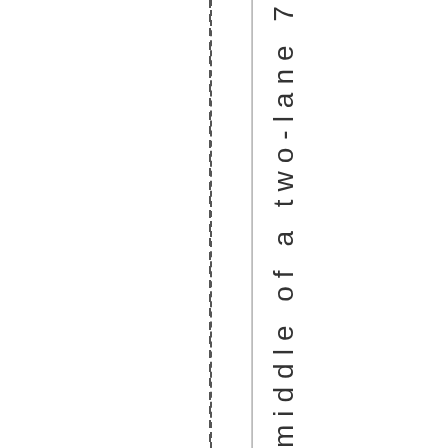middle of a two-lane 70-mph highway
[Figure (schematic): Two vertical lines — one dashed and one solid — representing lane markings of a two-lane highway]